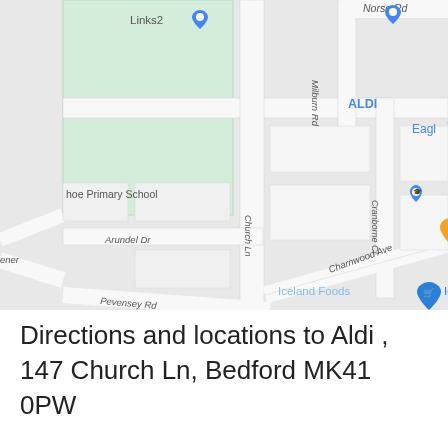[Figure (map): Google Maps screenshot showing the area around Church Lane and Milburn Road in Bedford, UK. Visible landmarks include ALDI, Iceland Foods, Codfather restaurant, Destiny Intergrated Care, Pro Building Services, Links2, a Primary School. Street names include Norse Rd, Cranborne Cl, Charnwood Ave, Arundel Dr, Church Ln, Pevensey Rd.]
Directions and locations to Aldi , 147 Church Ln, Bedford MK41 0PW